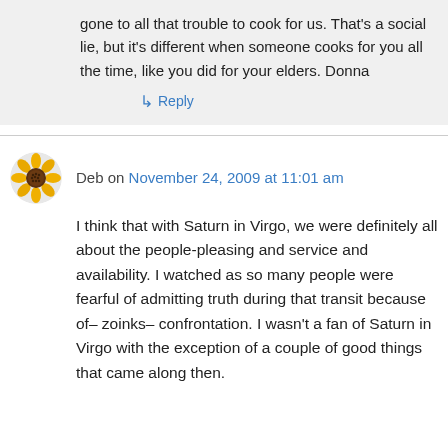gone to all that trouble to cook for us. That's a social lie, but it's different when someone cooks for you all the time, like you did for your elders. Donna
↳ Reply
Deb on November 24, 2009 at 11:01 am
I think that with Saturn in Virgo, we were definitely all about the people-pleasing and service and availability. I watched as so many people were fearful of admitting truth during that transit because of– zoinks– confrontation. I wasn't a fan of Saturn in Virgo with the exception of a couple of good things that came along then.